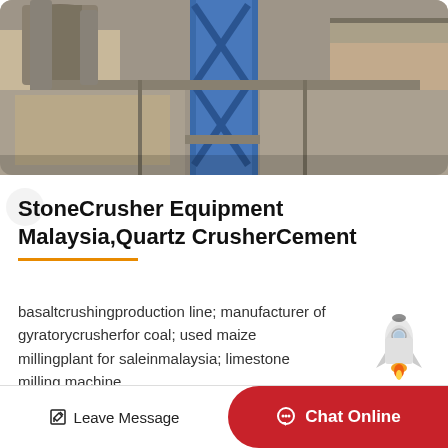[Figure (photo): Industrial stone crusher / cement plant machinery with blue steel frame structure and piping, photographed from below]
StoneCrusher Equipment Malaysia,Quartz CrusherCement
basaltcrushingproduction line; manufacturer of gyratorycrusherfor coal; used maize millingplant for saleinmalaysia; limestone milling machine…
[Figure (illustration): Rocket emoji / cartoon rocket illustration]
Leave Message   Chat Online